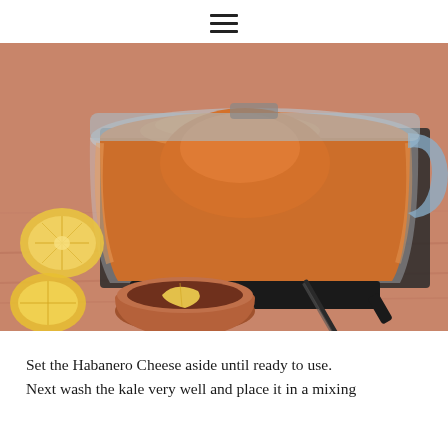☰
[Figure (photo): Overhead view of a blender containing smooth orange habanero cheese sauce. Surrounding the blender on a wooden cutting board are halved lemons, a small terracotta bowl with a lemon wedge, and a kitchen knife.]
Set the Habanero Cheese aside until ready to use. Next wash the kale very well and place it in a mixing